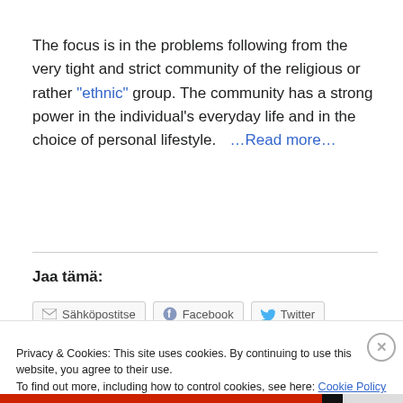The focus is in the problems following from the very tight and strict community of the religious or rather "ethnic" group. The community has a strong power in the individual's everyday life and in the choice of personal lifestyle.   ...Read more...
Jaa tämä:
Sähköpostitse  Facebook  Twitter
Privacy & Cookies: This site uses cookies. By continuing to use this website, you agree to their use. To find out more, including how to control cookies, see here: Cookie Policy
Close and accept